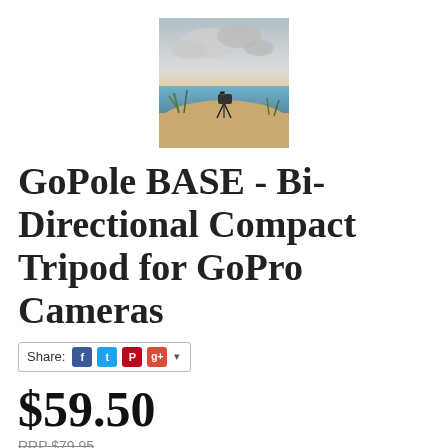[Figure (photo): Product photo of a GoPro camera mounted on a tripod outdoors on a beach/dune with cloudy sky in background]
GoPole BASE - Bi-Directional Compact Tripod for GoPro Cameras
Share: [Facebook] [Twitter] [Pinterest] [Google+] ▾
$59.50
RRP $79.95
SAVE $20.45 (26%)
In Stock